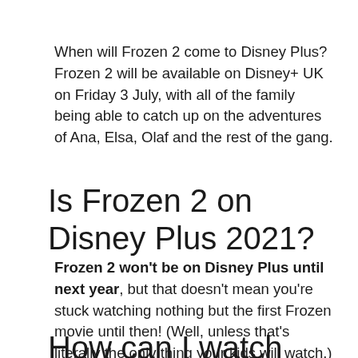When will Frozen 2 come to Disney Plus? Frozen 2 will be available on Disney+ UK on Friday 3 July, with all of the family being able to catch up on the adventures of Ana, Elsa, Olaf and the rest of the gang.
Is Frozen 2 on Disney Plus 2021?
Frozen 2 won't be on Disney Plus until next year, but that doesn't mean you're stuck watching nothing but the first Frozen movie until then! (Well, unless that's literally the only thing your kids will watch.)
How can I watch frozen 2 on…